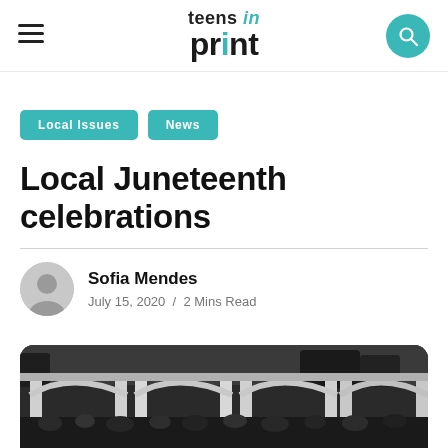teens in print
Local Issues
News
Local Juneteenth celebrations
Sofia Mendes
July 15, 2020 / 2 Mins Read
[Figure (photo): Black and white photograph of a large outdoor gathering under a gazebo or pavilion structure, crowd visible below]